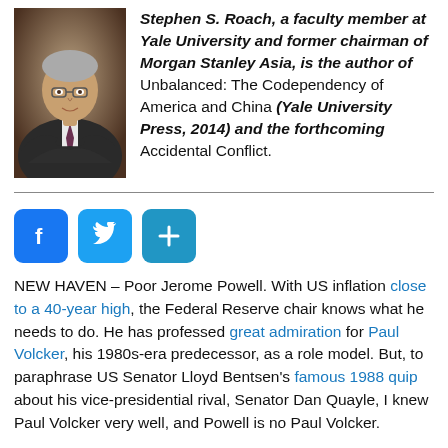Stephen S. Roach, a faculty member at Yale University and former chairman of Morgan Stanley Asia, is the author of Unbalanced: The Codependency of America and China (Yale University Press, 2014) and the forthcoming Accidental Conflict.
[Figure (photo): Headshot photo of Stephen S. Roach, a man with gray hair and glasses wearing a suit and tie, arms crossed]
[Figure (infographic): Social sharing buttons: Facebook (blue), Twitter (blue), and a share/add button (blue)]
NEW HAVEN – Poor Jerome Powell. With US inflation close to a 40-year high, the Federal Reserve chair knows what he needs to do. He has professed great admiration for Paul Volcker, his 1980s-era predecessor, as a role model. But, to paraphrase US Senator Lloyd Bentsen's famous 1988 quip about his vice-presidential rival, Senator Dan Quayle, I knew Paul Volcker very well, and Powell is no Paul Volcker.